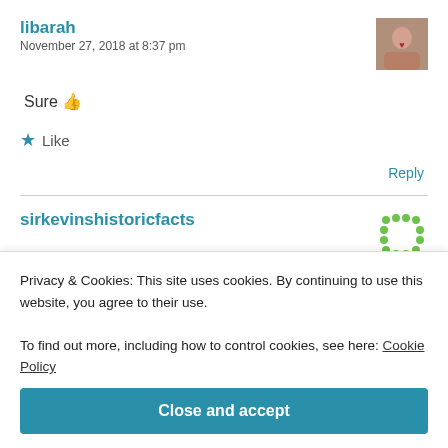libarah
November 27, 2018 at 8:37 pm
Sure 👍
★ Like
Reply
sirkevinshistoricfacts
Privacy & Cookies: This site uses cookies. By continuing to use this website, you agree to their use.
To find out more, including how to control cookies, see here: Cookie Policy
Close and accept